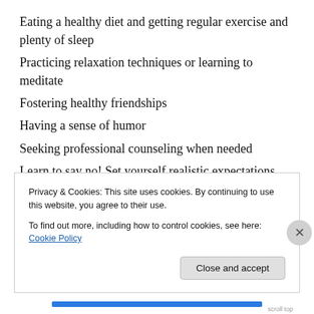Eating a healthy diet and getting regular exercise and plenty of sleep
Practicing relaxation techniques or learning to meditate
Fostering healthy friendships
Having a sense of humor
Seeking professional counseling when needed
Learn to say no! Set yourself realistic expectations and learn how to say “no” when your workload or social and family commitments get too much.
Learn to switch off. Leaving the office for the day? Then it’s time to switch off your work brain as well as your
Privacy & Cookies: This site uses cookies. By continuing to use this website, you agree to their use. To find out more, including how to control cookies, see here: Cookie Policy